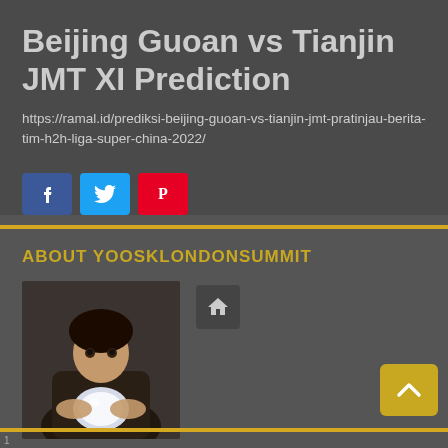Beijing Guoan vs Tianjin JMT XI Prediction
https://ramal.id/prediksi-beijing-guoan-vs-tianjin-jmt-pratinjau-berita-tim-h2h-liga-super-china-2022/
[Figure (other): Social media share buttons: Facebook (blue), Twitter (light blue), Pinterest (red)]
ABOUT YOOSKLONDONSUMMIT
[Figure (photo): Profile photo of a woman with a crystal ball, dark mysterious setting]
[Figure (other): Home icon button in dark gray square]